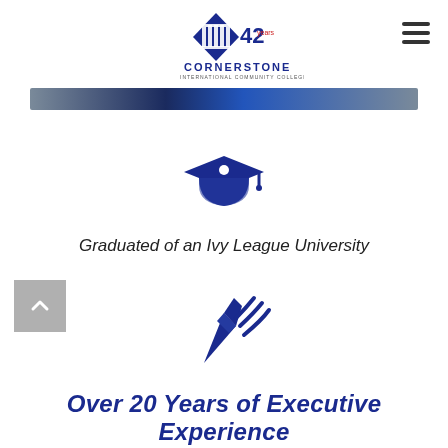[Figure (logo): Cornerstone International Community College of Canada logo with '42' years text]
[Figure (illustration): Dark blue graduation cap icon]
Graduated of an Ivy League University
[Figure (illustration): Dark blue pen/writing with wifi signal lines icon]
Over 20 Years of Executive Experience